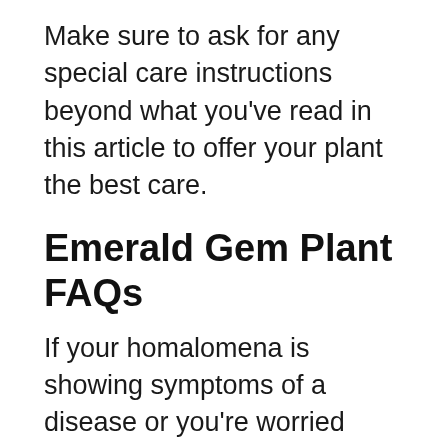Make sure to ask for any special care instructions beyond what you've read in this article to offer your plant the best care.
Emerald Gem Plant FAQs
If your homalomena is showing symptoms of a disease or you're worried about toxicity issues, read the FAQ below to get more information on these issues:
Is the Emerald Gem Plant Toxic?